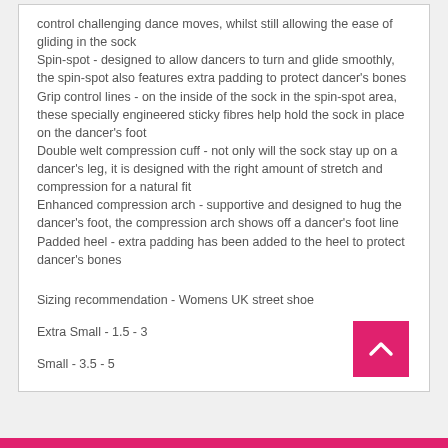control challenging dance moves, whilst still allowing the ease of gliding in the sock
Spin-spot - designed to allow dancers to turn and glide smoothly, the spin-spot also features extra padding to protect dancer's bones
Grip control lines - on the inside of the sock in the spin-spot area, these specially engineered sticky fibres help hold the sock in place on the dancer's foot
Double welt compression cuff - not only will the sock stay up on a dancer's leg, it is designed with the right amount of stretch and compression for a natural fit
Enhanced compression arch - supportive and designed to hug the dancer's foot, the compression arch shows off a dancer's foot line
Padded heel - extra padding has been added to the heel to protect dancer's bones
Sizing recommendation - Womens UK street shoe
Extra Small - 1.5 - 3
Small - 3.5 - 5
Medium - 5.5 - 7.5 (Mens 6 - 8)
Large - 6.5 - 9.5 (Mens 8.5 - 11)